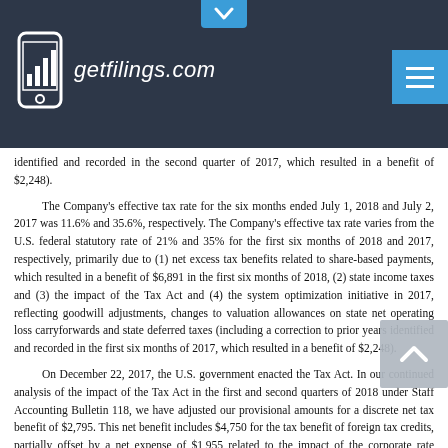getfilings.com
identified and recorded in the second quarter of 2017, which resulted in a benefit of $2,248).
The Company's effective tax rate for the six months ended July 1, 2018 and July 2, 2017 was 11.6% and 35.6%, respectively. The Company's effective tax rate varies from the U.S. federal statutory rate of 21% and 35% for the first six months of 2018 and 2017, respectively, primarily due to (1) net excess tax benefits related to share-based payments, which resulted in a benefit of $6,891 in the first six months of 2018, (2) state income taxes and (3) the impact of the Tax Act and (4) the system optimization initiative in 2017, reflecting goodwill adjustments, changes to valuation allowances on state net operating loss carryforwards and state deferred taxes (including a correction to prior years identified and recorded in the first six months of 2017, which resulted in a benefit of $2,248).
On December 22, 2017, the U.S. government enacted the Tax Act. In our continued analysis of the impact of the Tax Act in the first and second quarters of 2018 under Staff Accounting Bulletin 118, we have adjusted our provisional amounts for a discrete net tax benefit of $2,795. This net benefit includes $4,750 for the tax benefit of foreign tax credits, partially offset by a net expense of $1,955 related to the impact of the corporate rate reduction.